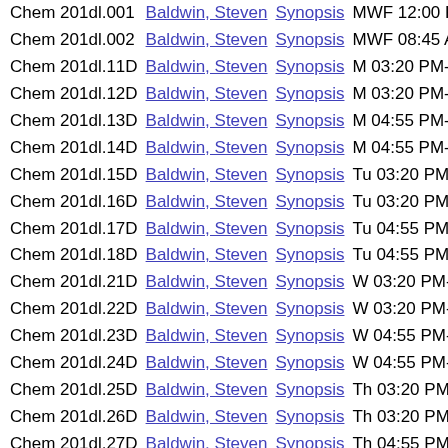| Course | Instructor | Synopsis | Time |
| --- | --- | --- | --- |
| Chem 201dl.001 | Baldwin, Steven | Synopsis | MWF 12:00 PM-0 |
| Chem 201dl.002 | Baldwin, Steven | Synopsis | MWF 08:45 A |
| Chem 201dl.11D | Baldwin, Steven | Synopsis | M 03:20 PM-04 |
| Chem 201dl.12D | Baldwin, Steven | Synopsis | M 03:20 PM-04 |
| Chem 201dl.13D | Baldwin, Steven | Synopsis | M 04:55 PM-05 |
| Chem 201dl.14D | Baldwin, Steven | Synopsis | M 04:55 PM-05 |
| Chem 201dl.15D | Baldwin, Steven | Synopsis | Tu 03:20 PM-04 |
| Chem 201dl.16D | Baldwin, Steven | Synopsis | Tu 03:20 PM-0 |
| Chem 201dl.17D | Baldwin, Steven | Synopsis | Tu 04:55 PM-0 |
| Chem 201dl.18D | Baldwin, Steven | Synopsis | Tu 04:55 PM-0 |
| Chem 201dl.21D | Baldwin, Steven | Synopsis | W 03:20 PM-04 |
| Chem 201dl.22D | Baldwin, Steven | Synopsis | W 03:20 PM-04 |
| Chem 201dl.23D | Baldwin, Steven | Synopsis | W 04:55 PM-05 |
| Chem 201dl.24D | Baldwin, Steven | Synopsis | W 04:55 PM-05 |
| Chem 201dl.25D | Baldwin, Steven | Synopsis | Th 03:20 PM-0 |
| Chem 201dl.26D | Baldwin, Steven | Synopsis | Th 03:20 PM-0 |
| Chem 201dl.27D | Baldwin, Steven | Synopsis | Th 04:55 PM-0 |
| Chem 201dl.28D | Baldwin, Steven | Synopsis | Th 04:55 PM-0 |
| Chem 201l9.111 | Kersey, Farrell | Synopsis | M 01:25 PM-0 |